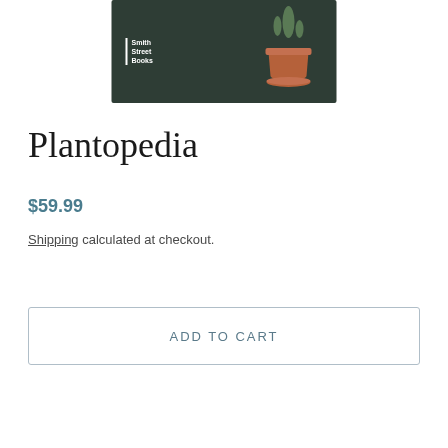[Figure (photo): Book cover of Plantopedia showing a terracotta pot with a cactus on a dark green background with Smith Street Books logo]
Plantopedia
$59.99
Shipping calculated at checkout.
ADD TO CART